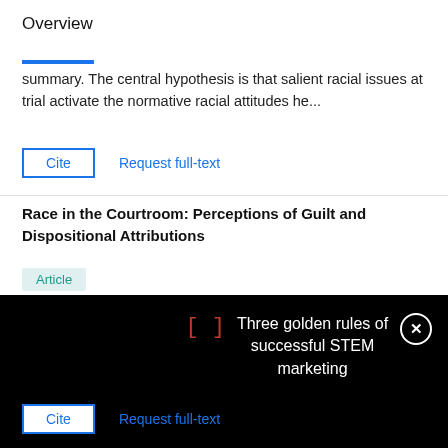Overview
summary. The central hypothesis is that salient racial issues at trial activate the normative racial attitudes he...
Cite   Request full-text
Race in the Courtroom: Perceptions of Guilt and Dispositional Attributions
Article
[Figure (screenshot): Black overlay popup showing red bracket icon and text 'Three golden rules of successful STEM marketing' with a white close button]
stu- dents demonstrated ingroup/outgroup bias in their guilt ratings and attributions for the defendant's behavior. The aversive nature of modern racism sugges...
Cite   Request full-text